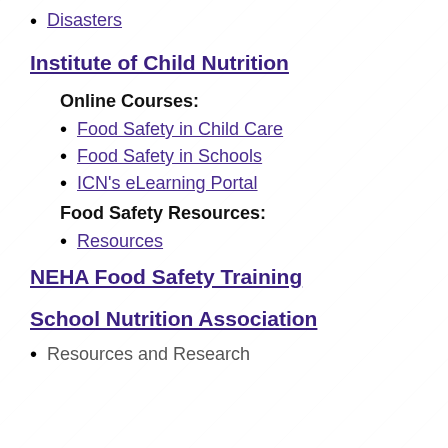Disasters
Institute of Child Nutrition
Online Courses:
Food Safety in Child Care
Food Safety in Schools
ICN's eLearning Portal
Food Safety Resources:
Resources
NEHA Food Safety Training
School Nutrition Association
Resources and Research